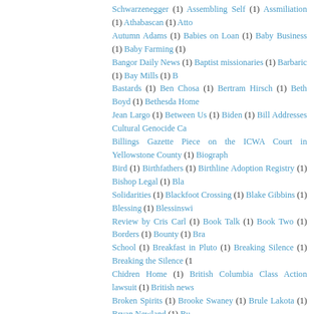Schwarzenegger (1) Assembling Self (1) Assmiliation (1) Athabascan (1) Atto Autumn Adams (1) Babies on Loan (1) Baby Business (1) Baby Farming (1) Bangor Daily News (1) Baptist missionaries (1) Barbaric (1) Bay Mills (1) B Bastards (1) Ben Chosa (1) Bertram Hirsch (1) Beth Boyd (1) Bethesda Home Jean Largo (1) Between Us (1) Biden (1) Bill Addresses Cultural Genocide Ca Billings Gazette Piece on the ICWA Court in Yellowstone County (1) Biograph Bird (1) Birthfathers (1) Birthline Adoption Registry (1) Bishop Legal (1) Bla Solidarities (1) Blackfoot Crossing (1) Blake Gibbins (1) Blessing (1) Blessinswi Review by Cris Carl (1) Book Talk (1) Book Two (1) Borders (1) Bounty (1) Bra School (1) Breakfast in Pluto (1) Breaking Silence (1) Breaking the Silence (1 Chidren Home (1) British Columbia Class Action lawsuit (1) British news Broken Spirits (1) Brooke Swaney (1) Brule Lakota (1) Bryan Newland (1) Bu Nation. (1) Burning In This Midnight Dream (1) Burying (1) CASA (1) CBS Calgary (1) Calling All Poets (1) Camsell site (1) Can You Hear Me Now? (1) C (1) Canadian History/Studies (1) Canadian Human Rights Commission (1) C Canadian Museum of Human Rights (1) Cannons attackman Lyle Thomp Capitol Coalition for Adoptee Rights (1) Carlisle Indian School Connec Foundation (1) CashBack (1) Cast Off (1) Catharine Robertson (1) Catholi Cecelia Reekie (1) Cecily Hilleary (1) Celeste Billhartz (1) Census (1) Challer Children (1) Change.org petition (1) Chanie Wenjack (1) Charles Camsell I School (1) Cheyenne River Sioux (1) Chickasaw (1) Chief Adam Dick (1) C Children of the Dragonfly (1) Children's Village of foster homes (1) Chile (1 Chinook (1) Chloe Zhao (1) Choctaw (1) Chris (1) Chris Benjamin (1) Christi Largo (1) Circle of Courage (1) Civil War (1) Claudia Corrigan DArcy (1) Code (1) Coleen Rajotte: Accounting for the 60s Scoop (1) Comanche (1) Com